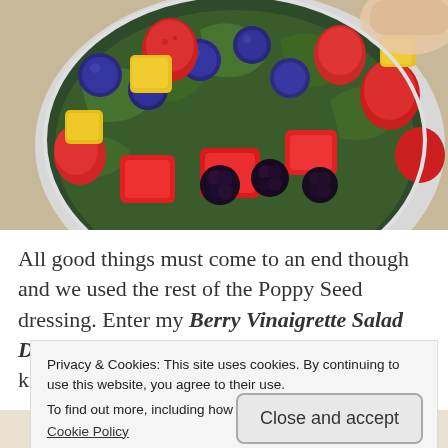[Figure (photo): A bowl of mixed fruit salad viewed from above, containing blueberries, strawberries, blackberries, watermelon chunks, pineapple pieces, and spinach leaves, held by a hand against a light wooden background.]
All good things must come to an end though and we used the rest of the Poppy Seed dressing. Enter my Berry Vinaigrette Salad Dressing! This dressing can be made with any kind of berry or
Privacy & Cookies: This site uses cookies. By continuing to use this website, you agree to their use.
To find out more, including how to control cookies, see here:
Cookie Policy
Close and accept
Need a website quickly —